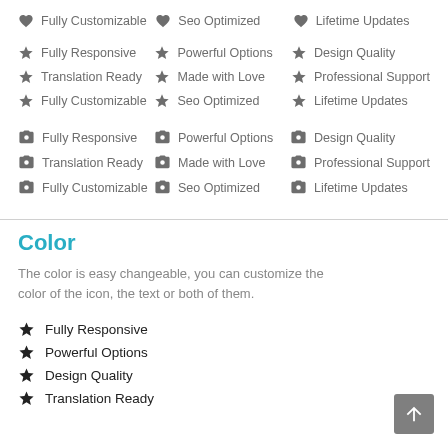♥ Fully Customizable  ♥ Seo Optimized  ♥ Lifetime Updates
★ Fully Responsive  ★ Powerful Options  ★ Design Quality
★ Translation Ready  ★ Made with Love  ★ Professional Support
★ Fully Customizable  ★ Seo Optimized  ★ Lifetime Updates
📷 Fully Responsive  📷 Powerful Options  📷 Design Quality
📷 Translation Ready  📷 Made with Love  📷 Professional Support
📷 Fully Customizable  📷 Seo Optimized  📷 Lifetime Updates
Color
The color is easy changeable, you can customize the color of the icon, the text or both of them.
★ Fully Responsive
★ Powerful Options
★ Design Quality
★ Translation Ready